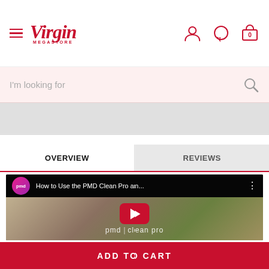Virgin Megastore - navigation header with hamburger menu, logo, user icon, chat icon, cart icon
I'm looking for
[Figure (screenshot): Gray navigation/banner bar below search]
OVERVIEW | REVIEWS
[Figure (screenshot): YouTube video thumbnail - How to Use the PMD Clean Pro an... with pmd clean pro branding and red play button]
ADD TO CART